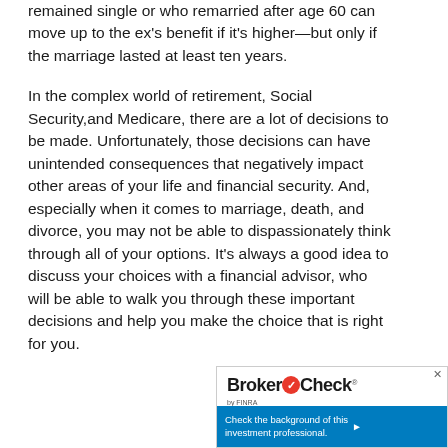remained single or who remarried after age 60 can move up to the ex's benefit if it's higher—but only if the marriage lasted at least ten years.
In the complex world of retirement, Social Security,and Medicare, there are a lot of decisions to be made. Unfortunately, those decisions can have unintended consequences that negatively impact other areas of your life and financial security. And, especially when it comes to marriage, death, and divorce, you may not be able to dispassionately think through all of your options. It's always a good idea to discuss your choices with a financial advisor, who will be able to walk you through these important decisions and help you make the choice that is right for you.
[Figure (logo): BrokerCheck by FINRA advertisement widget with close button, logo, and 'Check the background of this investment professional.' call to action with arrow.]